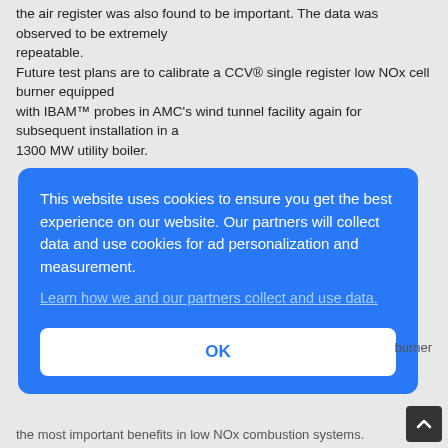the air register was also found to be important. The data was observed to be extremely repeatable. Future test plans are to calibrate a CCV® single register low NOx cell burner equipped with IBAM™ probes in AMC's wind tunnel facility again for subsequent installation in a 1300 MW utility boiler.
This website uses cookies to ensure you get the best experience on our website. Our partners will collect data and use cookies for ad personalization and measurement.
Learn how we and our partners collect and use data.
OK
burner
the most important benefits in low NOx combustion systems.